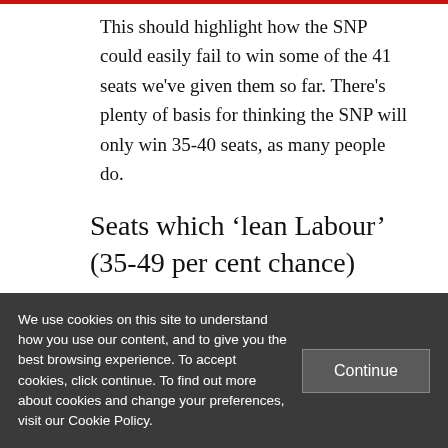This should highlight how the SNP could easily fail to win some of the 41 seats we've given them so far. There's plenty of basis for thinking the SNP will only win 35-40 seats, as many people do.
Seats which ‘lean Labour’ (35-49 per cent chance)
1. Edinburgh North and Leith — 42% chance
We use cookies on this site to understand how you use our content, and to give you the best browsing experience. To accept cookies, click continue. To find out more about cookies and change your preferences, visit our Cookie Policy.